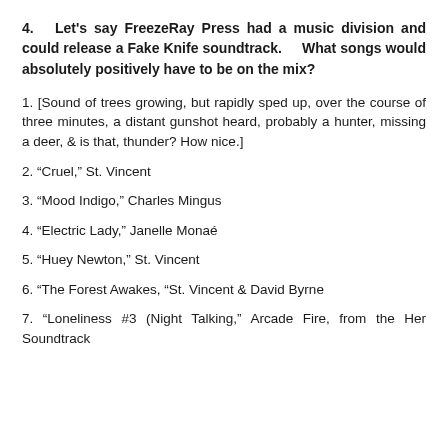4.   Let's say FreezeRay Press had a music division and could release a Fake Knife soundtrack.     What songs would absolutely positively have to be on the mix?
1. [Sound of trees growing, but rapidly sped up, over the course of three minutes, a distant gunshot heard, probably a hunter, missing a deer, & is that, thunder? How nice.]
2. “Cruel,” St. Vincent
3. “Mood Indigo,” Charles Mingus
4. “Electric Lady,” Janelle Monaé
5. “Huey Newton,” St. Vincent
6. “The Forest Awakes, “St. Vincent & David Byrne
7. “Loneliness #3 (Night Talking,” Arcade Fire, from the Her Soundtrack